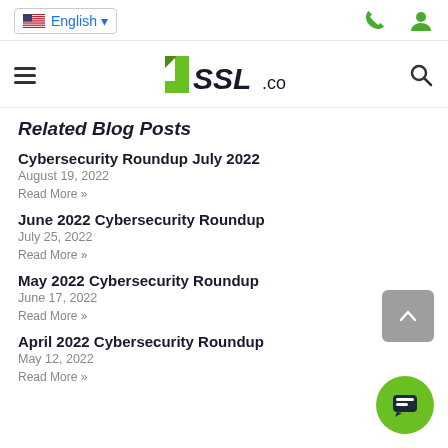English (language selector with US flag)
[Figure (logo): SSL.com logo with green stylized number 1 and SSL.com text]
Related Blog Posts
Cybersecurity Roundup July 2022
August 19, 2022
Read More »
June 2022 Cybersecurity Roundup
July 25, 2022
Read More »
May 2022 Cybersecurity Roundup
June 17, 2022
Read More »
April 2022 Cybersecurity Roundup
May 12, 2022
Read More »